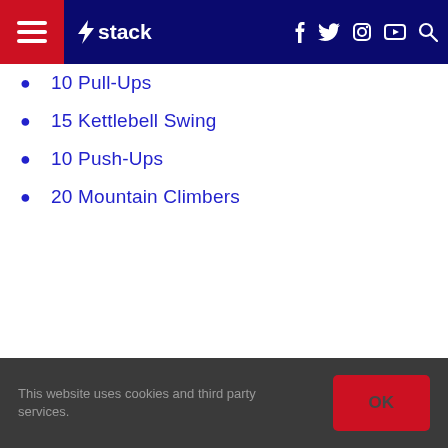Stack navigation bar with hamburger menu, Stack logo, social icons (f, Twitter, Instagram, YouTube), and search icon
10 Pull-Ups
15 Kettlebell Swing
10 Push-Ups
20 Mountain Climbers
This website uses cookies and third party services. OK